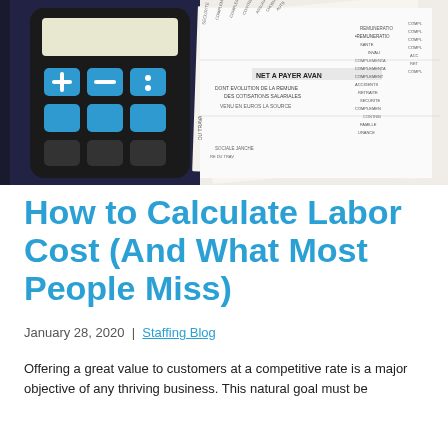[Figure (photo): A blue and black calculator resting on French payslip documents showing text including 'NET A PAYER AVAN' and 'EVOLUTION DE LA REMUNE DES COTISATIONS SALARIALES']
How to Calculate Labor Cost (And What Most People Miss)
January 28, 2020  |  Staffing Blog
Offering a great value to customers at a competitive rate is a major objective of any thriving business. This natural goal must be